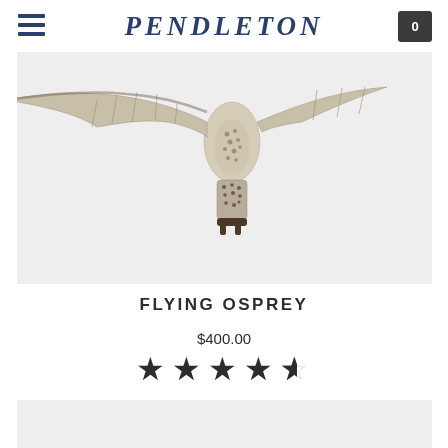PENDLETON
[Figure (photo): Flying osprey bird with wings spread against a light gray background, showing detailed feather markings and talons — cropped view showing partial wings and lower body/tail]
FLYING OSPREY
$400.00
[Figure (other): 4.5 star rating shown as filled and half-filled star icons]
[Figure (photo): Second product image area, partially visible at bottom of page, light gray background]